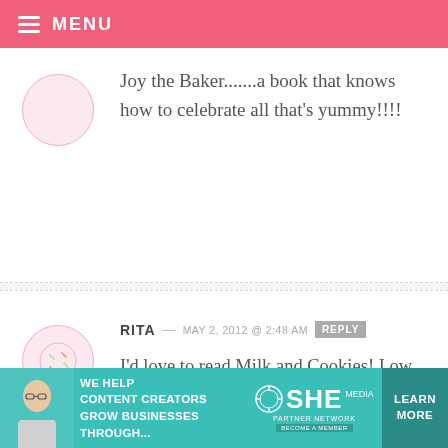MENU
Joy the Baker.......a book that knows how to celebrate all that's yummy!!!!
RITA — MAY 2, 2012 @ 2:48 AM REPLY
I'd love to read Milk and Cookies! I own Flour by Joanne Chang and I LOVE that book. Highly recommend it!
KRISTI PELLETIER — MAY 2, 2012 @ 2:48 AM
[Figure (infographic): SHE partner network banner ad: We help content creators grow businesses through... with Learn More button]